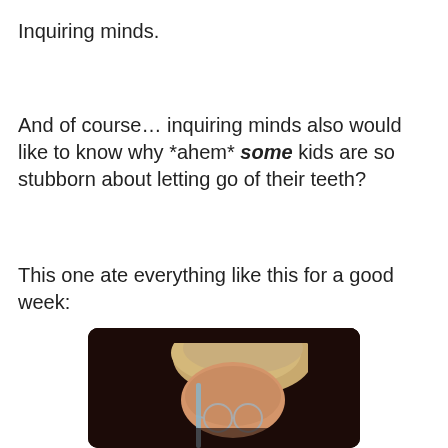Inquiring minds.
And of course… inquiring minds also would like to know why *ahem* some kids are so stubborn about letting go of their teeth?
This one ate everything like this for a good week:
[Figure (photo): A child with light blonde hair pulled back, wearing round glasses, photographed in low light against a dark background. Only the top of the child's head and glasses are visible.]